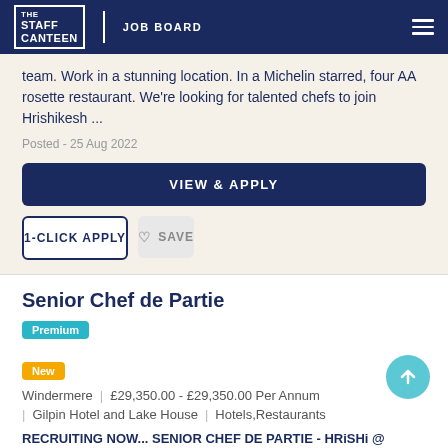THE STAFF CANTEEN | JOB BOARD
team. Work in a stunning location. In a Michelin starred, four AA rosette restaurant. We're looking for talented chefs to join Hrishikesh ...
Posted - 25 Aug 2022
VIEW & APPLY
1-CLICK APPLY
SAVE
Senior Chef de Partie
Premium
New
Windermere | £29,350.00 - £29,350.00 Per Annum | Gilpin Hotel and Lake House | Hotels,Restaurants
RECRUITING NOW... SENIOR CHEF DE PARTIE - HRiSHi @ GILPIN HOTEL Learn from the best. Be part of a great